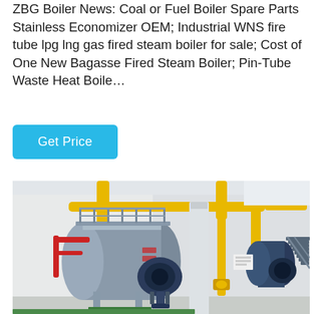ZBG Boiler News: Coal or Fuel Boiler Spare Parts Stainless Economizer OEM; Industrial WNS fire tube lpg lng gas fired steam boiler for sale; Cost of One New Bagasse Fired Steam Boiler; Pin-Tube Waste Heat Boile...
[Figure (photo): Industrial boiler room showing large horizontal fire-tube steam boilers (blue/grey) with yellow overhead gas pipework, red pipe accents, metal walkways, and a second smaller boiler unit visible in the background right.]